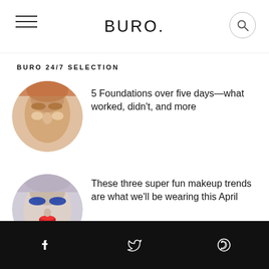BURO.
BURO 24/7 SELECTION
[Figure (photo): Circular thumbnail of a woman's face with warm makeup and glowing skin]
5 Foundations over five days—what worked, didn't, and more
[Figure (photo): Circular thumbnail of a woman's face with bold blue eye makeup and red lips]
These three super fun makeup trends are what we'll be wearing this April
[Figure (photo): Circular thumbnail of a blonde woman at what appears to be a red carpet event]
The best celebrity beauty looks from the final Game of Thrones season premiere
f  Twitter  WhatsApp